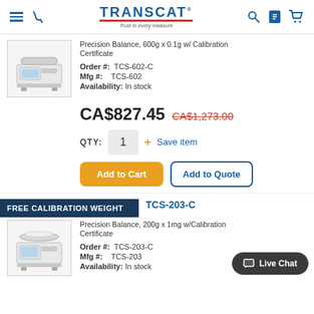TRANSCAT - Trust in every measure
Precision Balance, 600g x 0.1g w/ Calibration Certificate
Order #: TCS-602-C
Mfg #: TCS-602
Availability: In stock
CA$827.45  CA$1,273.00
QTY: 1  + Save item
Add to Cart   Add to Quote
FREE CALIBRATION WEIGHT
TCS-203-C
Precision Balance, 200g x 1mg w/Calibration Certificate
Order #: TCS-203-C
Mfg #: TCS-203
Availability: In stock
Live Chat